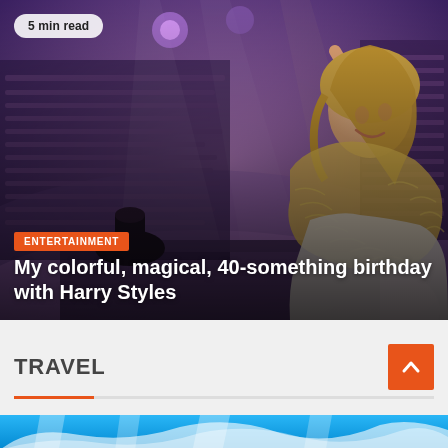[Figure (photo): Woman with raised arm wearing feather boa at a Harry Styles concert, large crowd in background with stage lighting]
5 min read
ENTERTAINMENT
My colorful, magical, 40-something birthday with Harry Styles
TRAVEL
[Figure (photo): Partial view of a travel destination image with blue sky and white structure, partially visible at bottom of page]